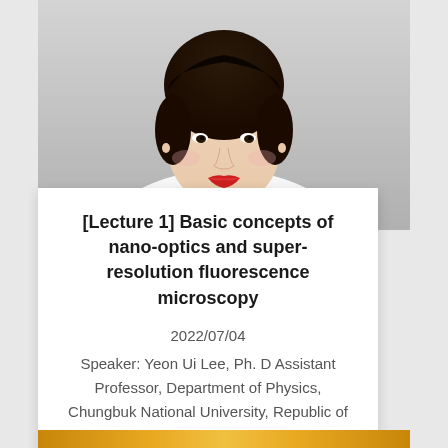[Figure (photo): Portrait photo of a woman with dark hair wearing a white collared shirt, photographed from chest up against a light gray background]
[Lecture 1] Basic concepts of nano-optics and super-resolution fluorescence microscopy
2022/07/04
Speaker: Yeon Ui Lee, Ph. D Assistant Professor, Department of Physics, Chungbuk National University, Republic of Korea A series of lectures...